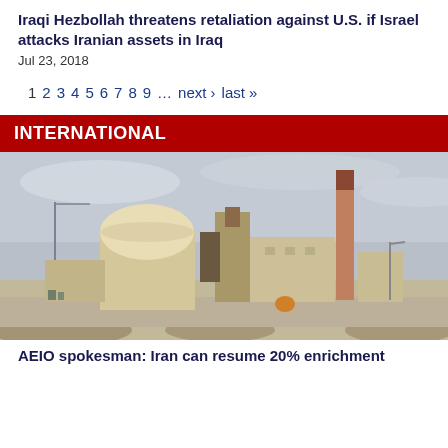Iraqi Hezbollah threatens retaliation against U.S. if Israel attacks Iranian assets in Iraq
Jul 23, 2018
1 2 3 4 5 6 7 8 9 … next › last »
INTERNATIONAL
[Figure (photo): Photograph of a nuclear power plant facility (Bushehr Nuclear Power Plant, Iran) with a dome-shaped reactor building, tall chimney/smokestack, and industrial structures under an overcast sky]
AEIO spokesman: Iran can resume 20% enrichment